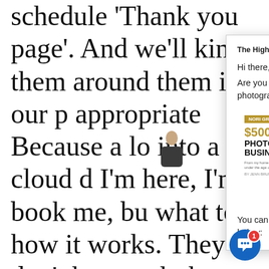schedule 'Thank you page'. And we'll just kind them around them in our p appropriate Because a lo into a cloud d I'm here, I'm book me, bu what to d how it works. They don't know what the next step is. And you're not nurturing them past those first
[Figure (screenshot): Popup overlay from 'The High Rollers Club' offering a photography masterclass. Contains greeting 'Hi there,', question 'Are you looking for my photography masterclass?', an image of a book cover titled '$500,000 PHOTOGRAPHY BUSINESS', and text 'You can get free access here. Just tell me where to send it below:']
[Figure (other): Blue chat bubble icon with a badge showing number 1, positioned at bottom right corner of the screen.]